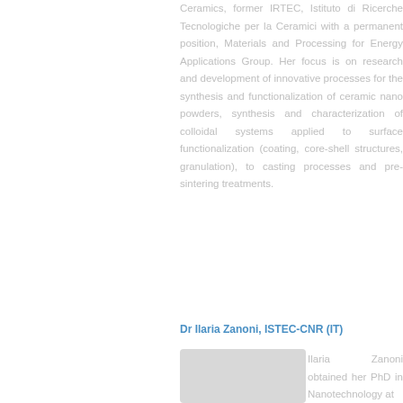Ceramics, former IRTEC, Istituto di Ricerche Tecnologiche per la Ceramici with a permanent position, Materials and Processing for Energy Applications Group. Her focus is on research and development of innovative processes for the synthesis and functionalization of ceramic nano powders, synthesis and characterization of colloidal systems applied to surface functionalization (coating, core-shell structures, granulation), to casting processes and pre-sintering treatments.
Dr Ilaria Zanoni, ISTEC-CNR (IT)
Ilaria Zanoni obtained her PhD in Nanotechnology at
[Figure (photo): Portrait photo of Dr Ilaria Zanoni]